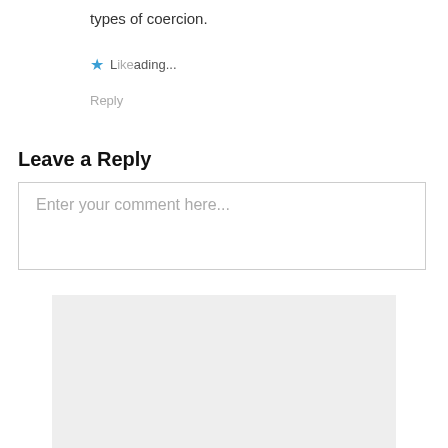types of coercion.
Like Loading...
Reply
Leave a Reply
Enter your comment here...
[Figure (other): Gray placeholder block at bottom of page]